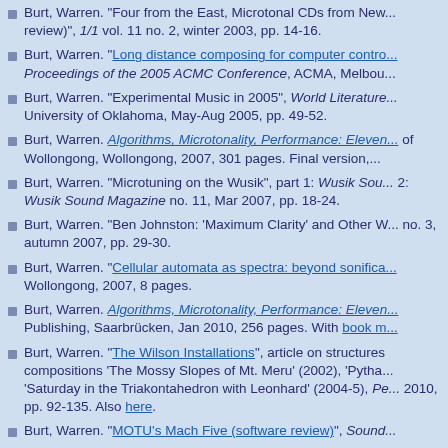Burt, Warren. "Four from the East, Microtonal CDs from New... review)", 1/1 vol. 11 no. 2, winter 2003, pp. 14-16.
Burt, Warren. "Long distance composing for computer contro... Proceedings of the 2005 ACMC Conference, ACMA, Melbou...
Burt, Warren. "Experimental Music in 2005", World Literature... University of Oklahoma, May-Aug 2005, pp. 49-52.
Burt, Warren. Algorithms, Microtonality, Performance: Eleven... of Wollongong, Wollongong, 2007, 301 pages. Final version,...
Burt, Warren. "Microtuning on the Wusik", part 1: Wusik Sou... 2: Wusik Sound Magazine no. 11, Mar 2007, pp. 18-24.
Burt, Warren. "Ben Johnston: 'Maximum Clarity' and Other W... no. 3, autumn 2007, pp. 29-30.
Burt, Warren. "Cellular automata as spectra: beyond sonifica... Wollongong, 2007, 8 pages.
Burt, Warren. Algorithms, Microtonality, Performance: Eleven... Publishing, Saarbrücken, Jan 2010, 256 pages. With book m...
Burt, Warren. "The Wilson Installations", article on structures compositions 'The Mossy Slopes of Mt. Meru' (2002), 'Pytha... 'Saturday in the Triakontahedron with Leonhard' (2004-5), Pe... 2010, pp. 92-135. Also here.
Burt, Warren. "MOTU's Mach Five (software review)", Sound...
Burt, Warren. "Linplug's Spectral (software review)", SoundB...
Burt, Warren. "Virtual ANS - Rebirth of a Classic, with New B... SoundBytes, WWW, Mar 2014.